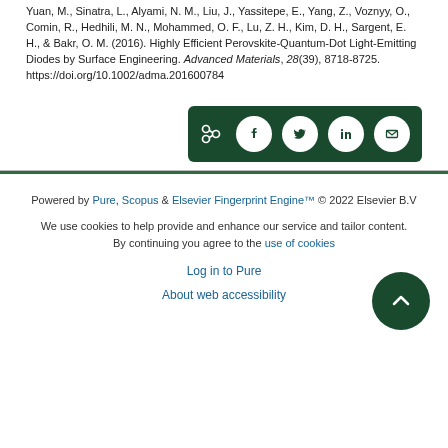Yuan, M., Sinatra, L., Alyami, N. M., Liu, J., Yassitepe, E., Yang, Z., Voznyy, O., Comin, R., Hedhili, M. N., Mohammed, O. F., Lu, Z. H., Kim, D. H., Sargent, E. H., & Bakr, O. M. (2016). Highly Efficient Perovskite-Quantum-Dot Light-Emitting Diodes by Surface Engineering. Advanced Materials, 28(39), 8718-8725. https://doi.org/10.1002/adma.201600784
[Figure (other): Share buttons row: share icon, Facebook, Twitter, LinkedIn, Email on dark green background]
Powered by Pure, Scopus & Elsevier Fingerprint Engine™ © 2022 Elsevier B.V
We use cookies to help provide and enhance our service and tailor content. By continuing you agree to the use of cookies
Log in to Pure
About web accessibility